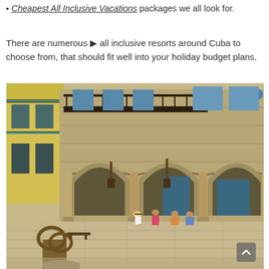✦ Cheapest All Inclusive Vacations packages we all look for.
There are numerous → all inclusive resorts around Cuba to choose from, that should fit well into your holiday budget plans.
[Figure (photo): Street scene in Old Havana, Cuba, showing a colonial stone building with arched arcade and balconies. People are sitting in front of the building on a cobblestone plaza. In the foreground is a bronze sculpture.]